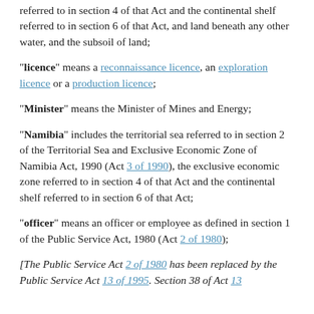referred to in section 4 of that Act and the continental shelf referred to in section 6 of that Act, and land beneath any other water, and the subsoil of land;
“licence” means a reconnaissance licence, an exploration licence or a production licence;
“Minister” means the Minister of Mines and Energy;
“Namibia” includes the territorial sea referred to in section 2 of the Territorial Sea and Exclusive Economic Zone of Namibia Act, 1990 (Act 3 of 1990), the exclusive economic zone referred to in section 4 of that Act and the continental shelf referred to in section 6 of that Act;
“officer” means an officer or employee as defined in section 1 of the Public Service Act, 1980 (Act 2 of 1980);
[The Public Service Act 2 of 1980 has been replaced by the Public Service Act 13 of 1995. Section 38 of Act 13 of 1995...